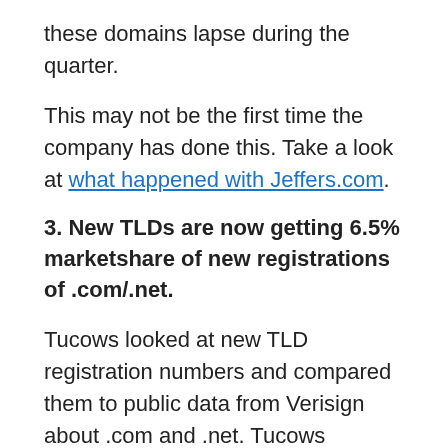these domains lapse during the quarter.
This may not be the first time the company has done this. Take a look at what happened with Jeffers.com.
3. New TLDs are now getting 6.5% marketshare of new registrations of .com/.net.
Tucows looked at new TLD registration numbers and compared them to public data from Verisign about .com and .net. Tucows calculated the new TLD market share of new registrations (with the market defined as new gTLDs+.com+.net) at 6.5% of this base.
I suspect this includes new TLD registrations